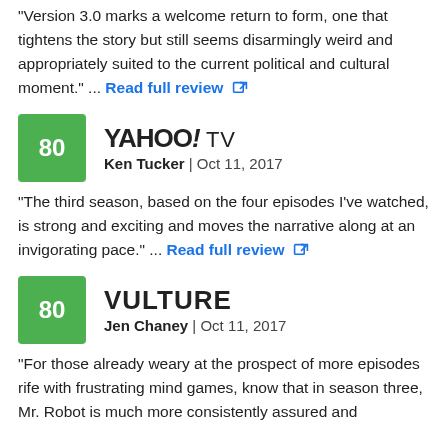"Version 3.0 marks a welcome return to form, one that tightens the story but still seems disarmingly weird and appropriately suited to the current political and cultural moment." ... Read full review
[Figure (logo): Yahoo! TV logo with green score box showing 80]
Ken Tucker | Oct 11, 2017
"The third season, based on the four episodes I've watched, is strong and exciting and moves the narrative along at an invigorating pace." ... Read full review
[Figure (logo): Vulture logo with green score box showing 80]
Jen Chaney | Oct 11, 2017
"For those already weary at the prospect of more episodes rife with frustrating mind games, know that in season three, Mr. Robot is much more consistently assured and